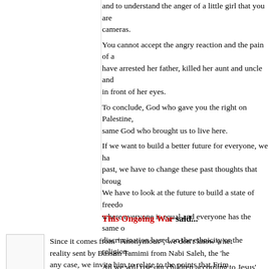and to understand the anger of a little girl that you are cameras.
You cannot accept the angry reaction and the pain of a have arrested her father, killed her aunt and uncle and in front of her eyes.
To conclude, God who gave you the right on Palestine, same God who brought us to live here.
If we want to build a better future for everyone, we ha past, we have to change these past thoughts that broug We have to look at the future to build a state of freedo where everyone is equal and everyone has the same o discrimination based on the ethnicity or the religion.
Ad we will rise our children according to Jesus' messag
Bassim Tamimi
Thursday, April 04, 2013
This Ongoing War said...
Since it comes from "Anonymous", we don't know whet reality sent by Bassim Tamimi from Nabi Saleh, the 'he any case, we invite him to relate to the points that Frim http://thisongoingwar.blogspot.co.il/2013/03/30-mar-13-